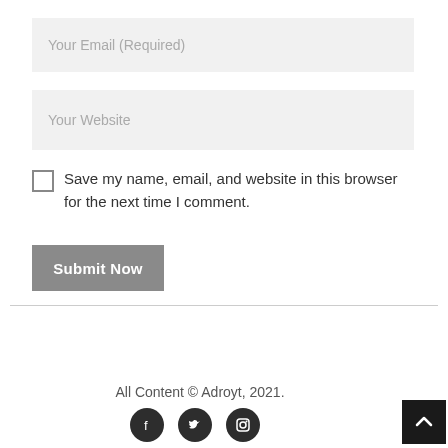Your Email (Required)
Your Website
Save my name, email, and website in this browser for the next time I comment.
Submit Now
All Content © Adroyt, 2021.